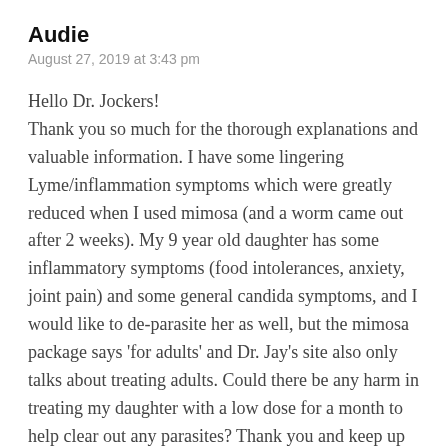Audie
August 27, 2019 at 3:43 pm
Hello Dr. Jockers! Thank you so much for the thorough explanations and valuable information. I have some lingering Lyme/inflammation symptoms which were greatly reduced when I used mimosa (and a worm came out after 2 weeks). My 9 year old daughter has some inflammatory symptoms (food intolerances, anxiety, joint pain) and some general candida symptoms, and I would like to de-parasite her as well, but the mimosa package says ‘for adults’ and Dr. Jay’s site also only talks about treating adults. Could there be any harm in treating my daughter with a low dose for a month to help clear out any parasites? Thank you and keep up the amazing work!